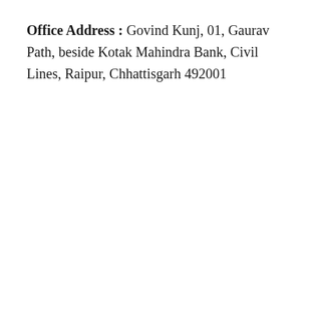Office Address : Govind Kunj, 01, Gaurav Path, beside Kotak Mahindra Bank, Civil Lines, Raipur, Chhattisgarh 492001